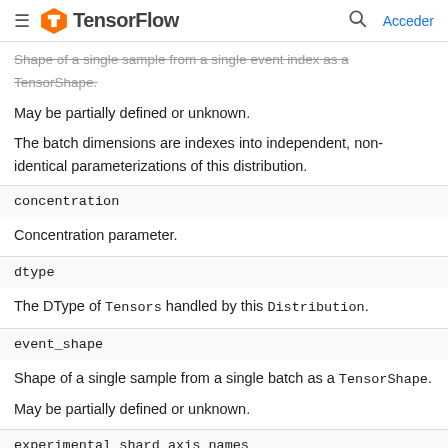TensorFlow — Acceder
Shape of a single sample from a single event index as a TensorShape.

May be partially defined or unknown.

The batch dimensions are indexes into independent, non-identical parameterizations of this distribution.
concentration
Concentration parameter.
dtype
The DType of Tensors handled by this Distribution.
event_shape
Shape of a single sample from a single batch as a TensorShape.

May be partially defined or unknown.
experimental_shard_axis_names